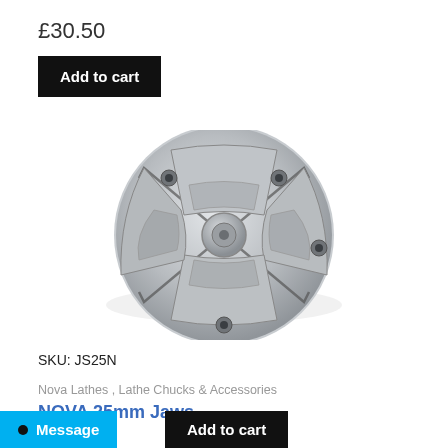£30.50
Add to cart
[Figure (photo): A circular lathe chuck with four jaws made of polished steel, showing screw holes and jaw slots, viewed from above on a white background.]
SKU: JS25N
Nova Lathes , Lathe Chucks & Accessories
NOVA 25mm Jaws
£30.50
Message
Add to cart